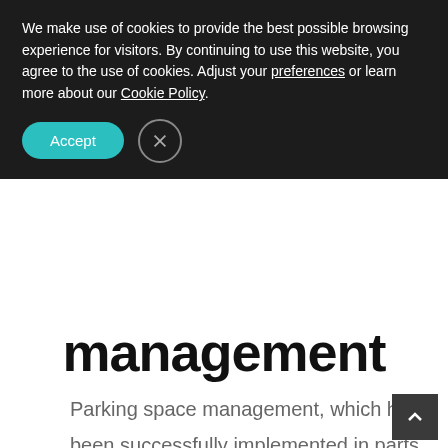We make use of cookies to provide the best possible browsing experience for visitors. By continuing to use this website, you agree to the use of cookies. Adjust your preferences or learn more about our Cookie Policy.
[Figure (screenshot): Cookie consent banner with Accept button (teal rounded pill) and X close button (circle outline)]
management
Parking space management, which has been successfully implemented in parts of the city, were brought up often during the discussion. In the opinion of the assembly, it brought more freedom for